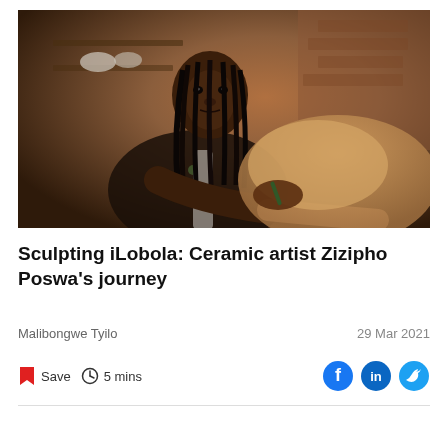[Figure (photo): A Black woman with long dreadlocks wearing a floral shirt, leaning over and sculpting or working on a clay ceramic piece. Background shows a warm-toned brick wall and wooden shelves. Studio/workshop setting.]
Sculpting iLobola: Ceramic artist Zizipho Poswa's journey
Malibongwe Tyilo
29 Mar 2021
Save
5 mins